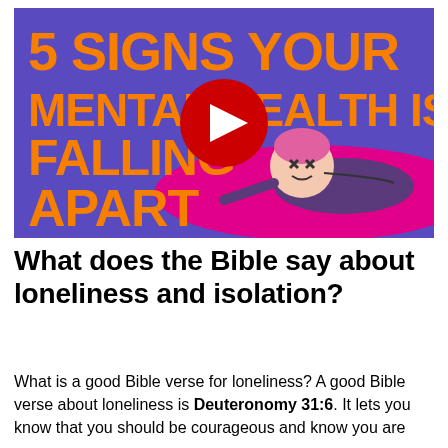[Figure (screenshot): YouTube video thumbnail for '5 Signs Your Mental Health is Falling Apart'. Purple background with large orange bold text reading '5 SIGNS YOUR MENTAL HEALTH IS FALLING APART'. A cartoon character with pink hair and X eyes lies on a magenta ellipse. A red YouTube play button circle is overlaid in the center.]
What does the Bible say about loneliness and isolation?
What is a good Bible verse for loneliness? A good Bible verse about loneliness is Deuteronomy 31:6. It lets you know that you should be courageous and know you are